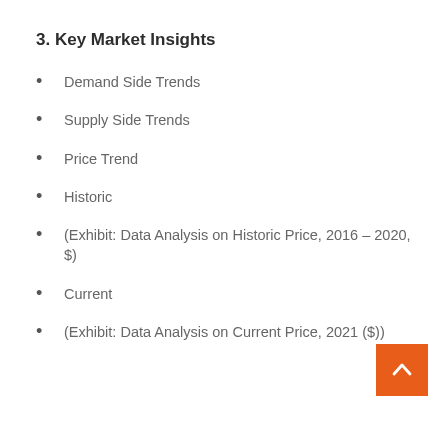3. Key Market Insights
Demand Side Trends
Supply Side Trends
Price Trend
Historic
(Exhibit: Data Analysis on Historic Price, 2016 – 2020, $)
Current
(Exhibit: Data Analysis on Current Price, 2021 ($))